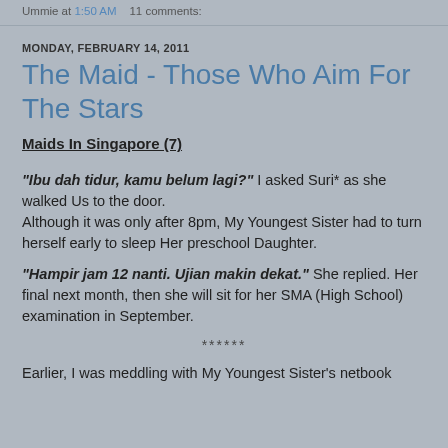Ummie at 1:50 AM   11 comments:
MONDAY, FEBRUARY 14, 2011
The Maid - Those Who Aim For The Stars
Maids In Singapore (7)
"Ibu dah tidur, kamu belum lagi?" I asked Suri* as she walked Us to the door.
Although it was only after 8pm, My Youngest Sister had to turn herself early to sleep Her preschool Daughter.
"Hampir jam 12 nanti. Ujian makin dekat." She replied. Her final next month, then she will sit for her SMA (High School) examination in September.
******
Earlier, I was meddling with My Youngest Sister's netbook